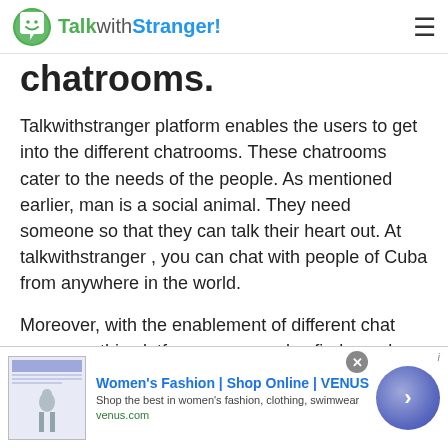TalkwithStranger!
chatrooms.
Talkwithstranger platform enables the users to get into the different chatrooms. These chatrooms cater to the needs of the people. As mentioned earlier, man is a social animal. They need someone so that they can talk their heart out. At talkwithstranger , you can chat with people of Cuba from anywhere in the world.
Moreover, with the enablement of different chat rooms on this platform, you can also find your love
[Figure (screenshot): Advertisement banner for Women's Fashion | Shop Online | VENUS. Shows a website screenshot thumbnail, ad title in blue, description text 'Shop the best in women's fashion, clothing, swimwear', URL 'venus.com' in green, a close button (x), and a blue/purple arrow circle button.]